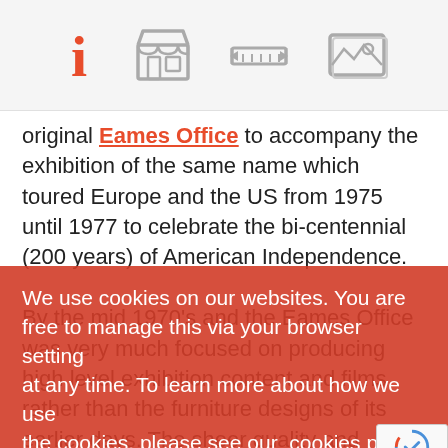[Figure (screenshot): Navigation bar with four icons: info (i), storefront, ruler/measure, and image gallery icons in gray and orange.]
original Eames Office to accompany the exhibition of the same name which toured Europe and the US from 1975 until 1977 to celebrate the bi-centennial (200 years) of American Independence.

By the mid 1970’s and the Eames Office was very much focused on producing high level exhibition content and films rather than the furniture designs of its earlier days. The sheer quality and complex layers of information, along with the very bold, modern and visual way they were able to display it, was the reason for their great success… commissioned by the Modern Art Museum of New York, via a grant from IBM. It was intended to showcase the founding fathers Benjamin Franklin and Thomas Jefferson.

Three years of dedicated research went into the project
We use cookies on our websites. You are free to manage this via your browser setting at any time. To learn more about how we use the cookies, please see our cookies policy.
Continue